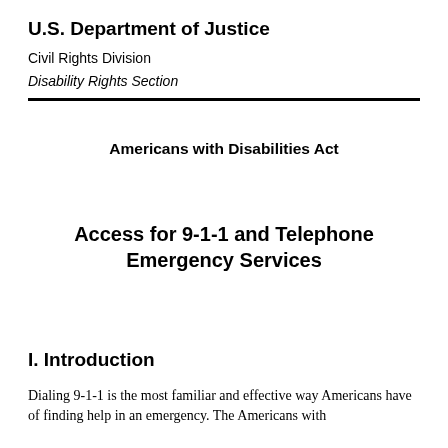U.S. Department of Justice
Civil Rights Division
Disability Rights Section
Americans with Disabilities Act
Access for 9-1-1 and Telephone Emergency Services
I. Introduction
Dialing 9-1-1 is the most familiar and effective way Americans have of finding help in an emergency. The Americans with